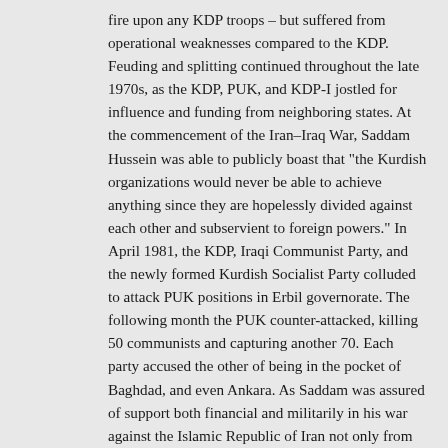fire upon any KDP troops – but suffered from operational weaknesses compared to the KDP. Feuding and splitting continued throughout the late 1970s, as the KDP, PUK, and KDP-I jostled for influence and funding from neighboring states. At the commencement of the Iran–Iraq War, Saddam Hussein was able to publicly boast that "the Kurdish organizations would never be able to achieve anything since they are hopelessly divided against each other and subservient to foreign powers." In April 1981, the KDP, Iraqi Communist Party, and the newly formed Kurdish Socialist Party colluded to attack PUK positions in Erbil governorate. The following month the PUK counter-attacked, killing 50 communists and capturing another 70. Each party accused the other of being in the pocket of Baghdad, and even Ankara. As Saddam was assured of support both financial and militarily in his war against the Islamic Republic of Iran not only from the US, but from France, United Kingdom, Britain, and the USSR, the Kurdish groups eventually came to the realization that they must unite against the common foe (Saddam). In 1986 the KDP, PUK, KSP, and ICP announced a joint declaration calling for unity against the Ba'ath regime and in November Masoud Barzani and Jalal Talabani finally met to form an official alliance, in Tehran. By